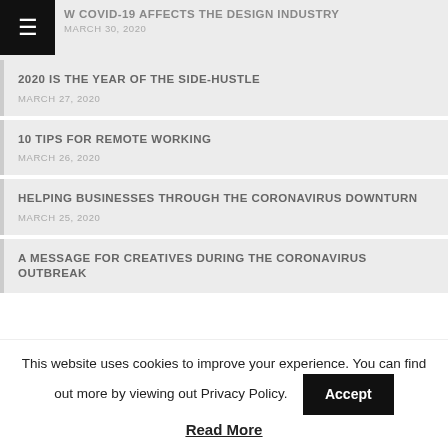HOW COVID-19 AFFECTS THE DESIGN INDUSTRY — MARCH 30, 2020 (partial)
2020 IS THE YEAR OF THE SIDE-HUSTLE
MARCH 27, 2020
10 TIPS FOR REMOTE WORKING
MARCH 26, 2020
HELPING BUSINESSES THROUGH THE CORONAVIRUS DOWNTURN
MARCH 25, 2020
A MESSAGE FOR CREATIVES DURING THE CORONAVIRUS OUTBREAK
This website uses cookies to improve your experience. You can find out more by viewing out Privacy Policy. Accept
Read More